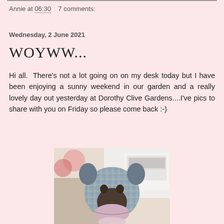Annie at 06:30   7 comments:
Wednesday, 2 June 2021
WOYWW...
Hi all.  There's not a lot going on on my desk today but I have been enjoying a sunny weekend in our garden and a really lovely day out yesterday at Dorothy Clive Gardens....I've pics to share with you on Friday so please come back :-)
[Figure (photo): A stuffed toy animal (elephant or bear) made from plaid/checkered fabric in blue, green and purple tones, sitting in front of a sewing machine in a craft room.]